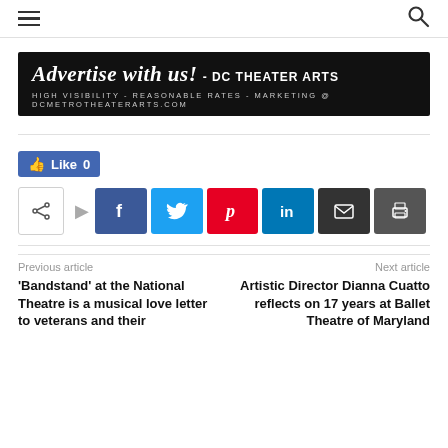[Hamburger menu icon] [Search icon]
[Figure (other): Advertisement banner: 'Advertise with us! - DC THEATER ARTS' on black background, with text 'HIGH VISIBILITY - REASONABLE RATES - MARKETING @ DCMETROTHEATERARTS.COM']
[Figure (infographic): Social sharing bar: Like button (Facebook, count 0), share icon, Facebook, Twitter, Pinterest, LinkedIn, Email, Print buttons]
Previous article
'Bandstand' at the National Theatre is a musical love letter to veterans and their
Next article
Artistic Director Dianna Cuatto reflects on 17 years at Ballet Theatre of Maryland